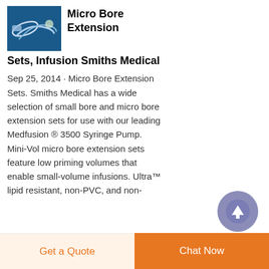[Figure (photo): Small product image of micro bore extension set tubing on a blue background]
Micro Bore Extension Sets, Infusion Smiths Medical
Sep 25, 2014 · Micro Bore Extension Sets. Smiths Medical has a wide selection of small bore and micro bore extension sets for use with our leading Medfusion ® 3500 Syringe Pump. Mini-Vol micro bore extension sets feature low priming volumes that enable small-volume infusions. Ultra™ lipid resistant, non-PVC, and non-DEHP formulations...
[Figure (other): Scroll-to-top circular button with upward arrow icon in purple/blue]
Get a Quote
Chat Now